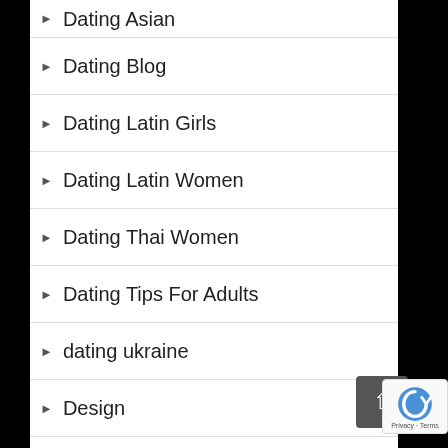Dating Asian
Dating Blog
Dating Latin Girls
Dating Latin Women
Dating Thai Women
Dating Tips For Adults
dating ukraine
Design
Diamond Cbd Oil
Direct Payday Loans Online